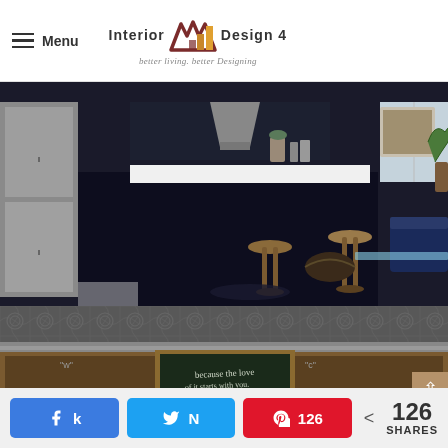Menu | Interior Design 4 — better living, better Designing
[Figure (photo): Modern industrial kitchen with dark navy cabinets, white countertop island, two brass/wood bar stools, stainless steel refrigerator, range hood, and a living area with framed artwork and bonsai plant visible in background]
[Figure (photo): Close-up of an ornate pressed tin ceiling with detailed embossed pattern, and below it wooden cabinet frames with a chalkboard center panel with handwritten text, flanked by decorative molding]
Facebook share | Twitter share | Pinterest 126 | < 126 SHARES